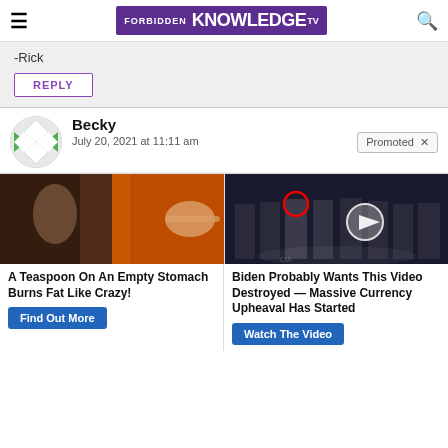FORBIDDEN KNOWLEDGE TV
-Rick
REPLY
Becky
July 20, 2021 at 11:11 am
Promoted X
[Figure (photo): Left ad: fitness/spice image collage. Right ad: group of men in suits at CIA-style setting with play button overlay.]
A Teaspoon On An Empty Stomach Burns Fat Like Crazy!
Find Out More
Biden Probably Wants This Video Destroyed — Massive Currency Upheaval Has Started
Watch The Video